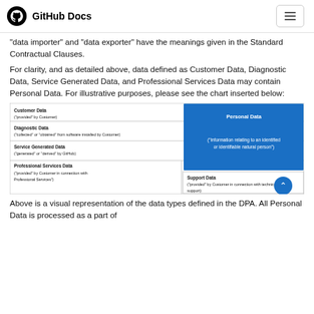GitHub Docs
“data importer” and “data exporter” have the meanings given in the Standard Contractual Clauses.
For clarity, and as detailed above, data defined as Customer Data, Diagnostic Data, Service Generated Data, and Professional Services Data may contain Personal Data. For illustrative purposes, please see the chart inserted below:
[Figure (infographic): A diagram showing data types: Customer Data ('provided' by Customer), Diagnostic Data ('collected' or 'obtained' from software installed by Customer), Service Generated Data ('generated' or 'derived' by GitHub), Professional Services Data ('provided' by Customer in connection with Professional Services), Support Data ('provided' by Customer in connection with technical support). A blue box on the right covers Personal Data ('information relating to an identified or identifiable natural person').]
Above is a visual representation of the data types defined in the DPA. All Personal Data is processed as a part of